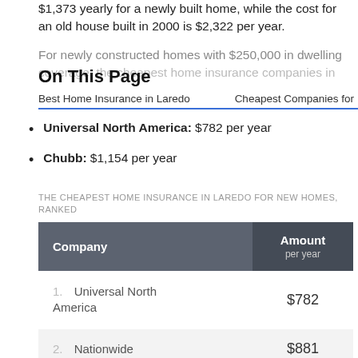$1,373 yearly for a newly built home, while the cost for an old house built in 2000 is $2,322 per year.
For newly constructed homes with $250,000 in dwelling coverage, the cheapest home insurance companies in
On This Page
Best Home Insurance in Laredo    Cheapest Companies for
Universal North America: $782 per year
Chubb: $1,154 per year
THE CHEAPEST HOME INSURANCE IN LAREDO FOR NEW HOMES, RANKED
| Company | Amount per year |
| --- | --- |
| 1. Universal North America | $782 |
| 2. Nationwide | $881 |